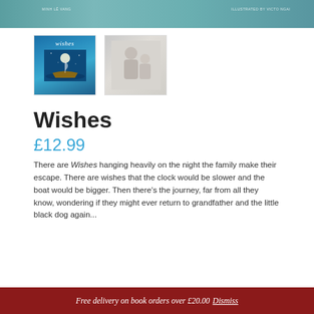[Figure (photo): Top banner image of a book cover showing teal/green watercolor tones with text]
[Figure (photo): Thumbnail 1: Book cover for 'Wishes' with blue night sky and a small boat]
[Figure (photo): Thumbnail 2: Book cover showing an elderly man and a child in muted tones]
Wishes
£12.99
There are Wishes hanging heavily on the night the family make their escape. There are wishes that the clock would be slower and the boat would be bigger. Then there's the journey, far from all they know, wondering if they might ever return to grandfather and the little black dog again...
Free delivery on book orders over £20.00 Dismiss